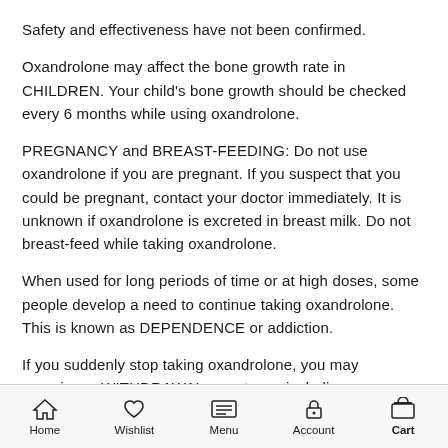Safety and effectiveness have not been confirmed.
Oxandrolone may affect the bone growth rate in CHILDREN. Your child's bone growth should be checked every 6 months while using oxandrolone.
PREGNANCY and BREAST-FEEDING: Do not use oxandrolone if you are pregnant. If you suspect that you could be pregnant, contact your doctor immediately. It is unknown if oxandrolone is excreted in breast milk. Do not breast-feed while taking oxandrolone.
When used for long periods of time or at high doses, some people develop a need to continue taking oxandrolone. This is known as DEPENDENCE or addiction.
If you suddenly stop taking oxandrolone, you may experience WITHDRAWAL symptoms, including depression, insomnia, loss of appetite, mood swings, reduced sex drive, restlessness, or tiredness.
Home  Wishlist  Menu  Account  Cart